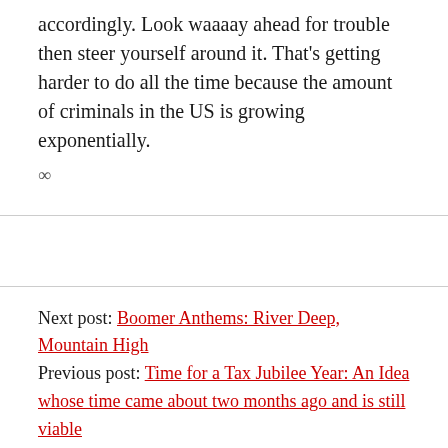accordingly. Look waaaay ahead for trouble then steer yourself around it. That's getting harder to do all the time because the amount of criminals in the US is growing exponentially.
∞
Next post: Boomer Anthems: River Deep, Mountain High
Previous post: Time for a Tax Jubilee Year: An Idea whose time came about two months ago and is still viable
Welcome to the New American Digest: 2001-2022
ADDRESS FOR DONATIONS AND